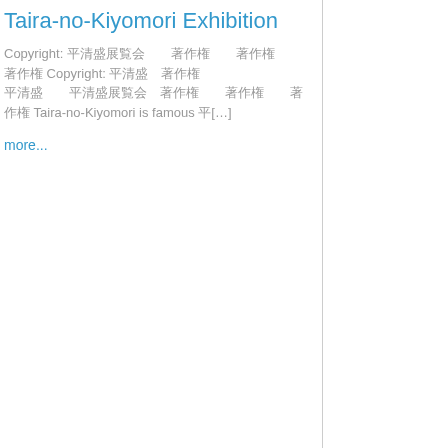Taira-no-Kiyomori Exhibition
Copyright: 平清盛展覧会　著作権　著作権　著作権 Copyright: 平清盛 著作権　平清盛展覧会　著作権　著作権　著作権 Taira-no-Kiyomori is famous […]
more...